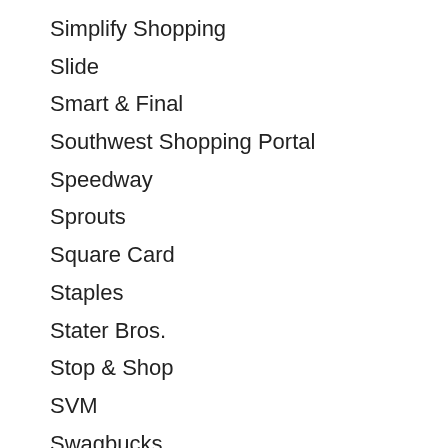Simplify Shopping
Slide
Smart & Final
Southwest Shopping Portal
Speedway
Sprouts
Square Card
Staples
Stater Bros.
Stop & Shop
SVM
Swagbucks
Swych
T-Mobile Tuesdays
Tada
Tanger Outlets
Target